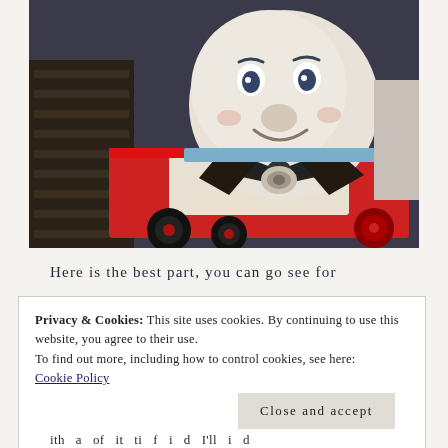[Figure (photo): Close-up photograph of Thomas the Tank Engine ride or display model. The character has a large round face with a smile, blue accents, black bow tie details, and red body. Viewed from the front-left angle showing the train body with rails visible on the left side.]
Here is the best part, you can go see for
Privacy & Cookies: This site uses cookies. By continuing to use this website, you agree to their use.
To find out more, including how to control cookies, see here:
Cookie Policy
Close and accept
ith a of it ti f i d I'll i d